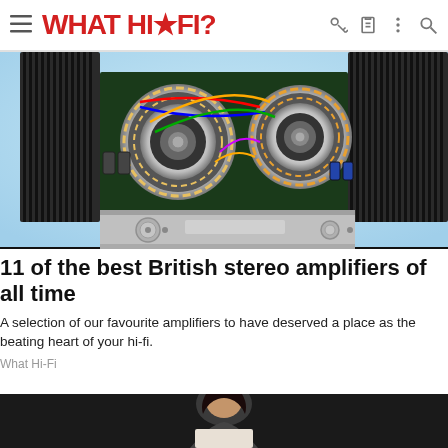WHAT HI-FI?
[Figure (photo): Interior of a high-end stereo amplifier showing two large toroidal transformers, capacitors, heat sinks, and circuit wiring against a light blue background]
11 of the best British stereo amplifiers of all time
A selection of our favourite amplifiers to have deserved a place as the beating heart of your hi-fi.
What Hi-Fi
[Figure (photo): Partial view of a person, cropped at top of page bottom strip, dark background]